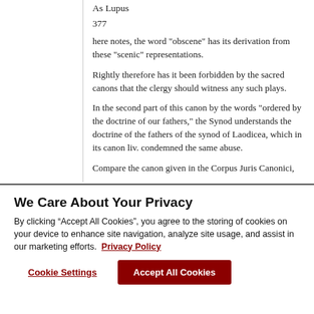As Lupus
377
here notes, the word "obscene" has its derivation from these "scenic" representations.
Rightly therefore has it been forbidden by the sacred canons that the clergy should witness any such plays.
In the second part of this canon by the words "ordered by the doctrine of our fathers," the Synod understands the doctrine of the fathers of the synod of Laodicea, which in its canon liv. condemned the same abuse.
Compare the canon given in the Corpus Juris Canonici,
We Care About Your Privacy
By clicking “Accept All Cookies”, you agree to the storing of cookies on your device to enhance site navigation, analyze site usage, and assist in our marketing efforts. Privacy Policy